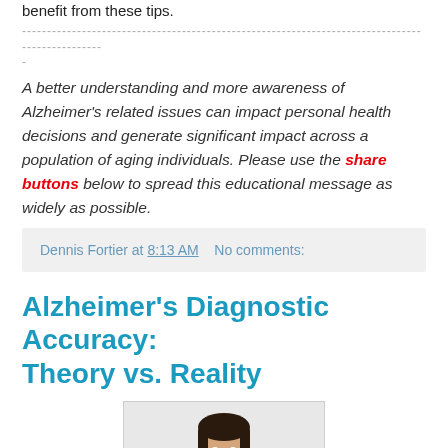benefit from these tips.
------------------------------------------------------------------------------------
-
A better understanding and more awareness of Alzheimer's related issues can impact personal health decisions and generate significant impact across a population of aging individuals. Please use the share buttons below to spread this educational message as widely as possible.
Dennis Fortier at 8:13 AM   No comments:
Alzheimer's Diagnostic Accuracy: Theory vs. Reality
[Figure (photo): A female doctor wearing a white coat and stethoscope, smiling, with dark shoulder-length hair.]